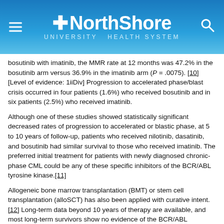NorthShore University HealthSystem
bosutinib with imatinib, the MMR rate at 12 months was 47.2% in the bosutinib arm versus 36.9% in the imatinib arm (P = .0075). [10][Level of evidence: 1iiDiv] Progression to accelerated phase/blast crisis occurred in four patients (1.6%) who received bosutinib and in six patients (2.5%) who received imatinib.
Although one of these studies showed statistically significant decreased rates of progression to accelerated or blastic phase, at 5 to 10 years of follow-up, patients who received nilotinib, dasatinib, and bosutinib had similar survival to those who received imatinib. The preferred initial treatment for patients with newly diagnosed chronic-phase CML could be any of these specific inhibitors of the BCR/ABL tyrosine kinase.[11]
Allogeneic bone marrow transplantation (BMT) or stem cell transplantation (alloSCT) has also been applied with curative intent.[12] Long-term data beyond 10 years of therapy are available, and most long-term survivors show no evidence of the BCR/ABL translocation by any available test (e.g., cytogenetics, RT−PCR, or fluorescence in situ hybridization). Some patients, however, are not eligible for this approach because of age, comorbid conditions, or lack of a suitable donor. In addition, substantial morbidity and mortality result from allogeneic BMT or